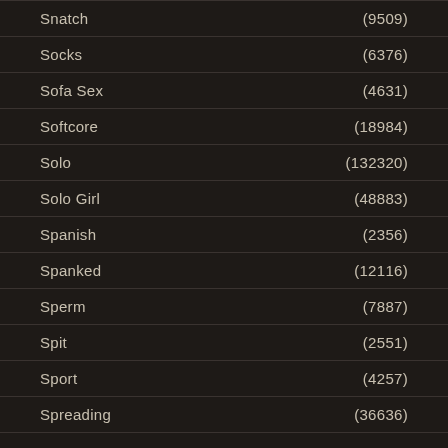Snatch (9509)
Socks (6376)
Sofa Sex (4631)
Softcore (18984)
Solo (132320)
Solo Girl (48883)
Spanish (2356)
Spanked (12116)
Sperm (7887)
Spit (2551)
Sport (4257)
Spreading (36636)